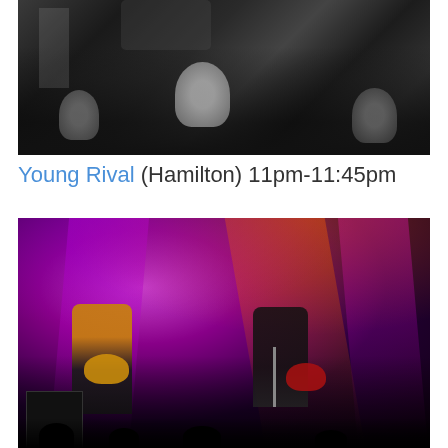[Figure (photo): Black and white photo of a concert crowd from behind, with musicians on stage including a drum kit visible in the background]
Young Rival (Hamilton) 11pm-11:45pm
[Figure (photo): Color concert photo of Young Rival band performing on stage with dramatic purple, red and orange stage lighting. Guitarist in yellow shirt on left, vocalist at microphone on right, drummer in middle.]